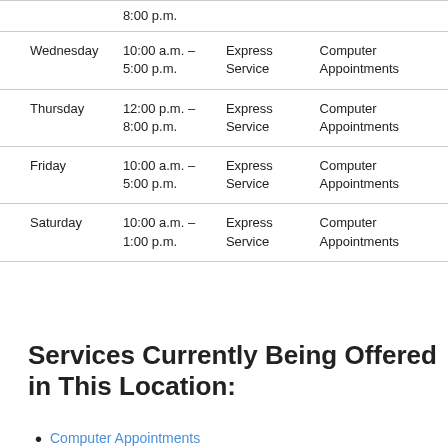| Day | Hours | Service Type | Appointment Type |
| --- | --- | --- | --- |
|  | 8:00 p.m. |  |  |
| Wednesday | 10:00 a.m. – 5:00 p.m. | Express Service | Computer Appointments |
| Thursday | 12:00 p.m. – 8:00 p.m. | Express Service | Computer Appointments |
| Friday | 10:00 a.m. – 5:00 p.m. | Express Service | Computer Appointments |
| Saturday | 10:00 a.m. – 1:00 p.m. | Express Service | Computer Appointments |
Services Currently Being Offered in This Location:
Computer Appointments